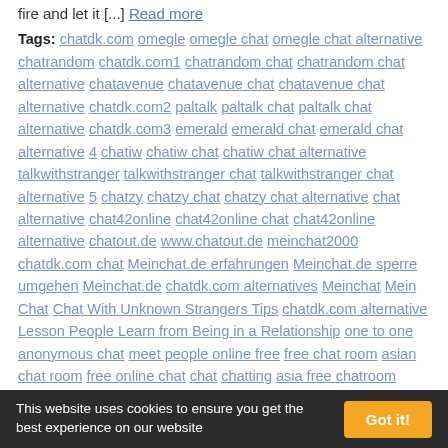fire and let it [...] Read more
Tags: chatdk.com omegle omegle chat omegle chat alternative chatrandom chatdk.com1 chatrandom chat chatrandom chat alternative chatavenue chatavenue chat chatavenue chat alternative chatdk.com2 paltalk paltalk chat paltalk chat alternative chatdk.com3 emerald emerald chat emerald chat alternative 4 chatiw chatiw chat chatiw chat alternative talkwithstranger talkwithstranger chat talkwithstranger chat alternative 5 chatzy chatzy chat chatzy chat alternative chat alternative chat42online chat42online chat chat42online alternative chatout.de www.chatout.de meinchat2000 chatdk.com chat Meinchat.de erfahrungen Meinchat.de sperre umgehen Meinchat.de chatdk.com alternatives Meinchat Mein Chat Chat With Unknown Strangers Tips chatdk.com alternative Lesson People Learn from Being in a Relationship one to one anonymous chat meet people online free free chat room asian chat room free online chat chat chatting asia free chatroom
[Figure (other): Orange horizontal bar widget divider]
chatdk.com alternative
This website uses cookies to ensure you get the best experience on our website  Got it!